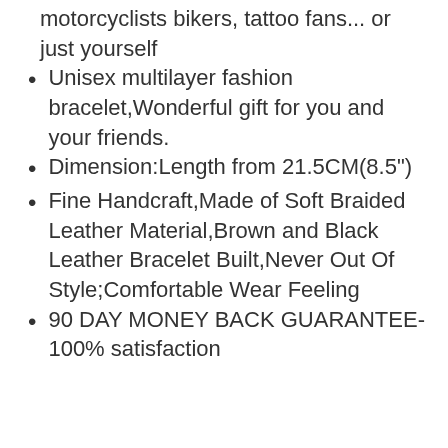motorcyclists bikers, tattoo fans... or just yourself
Unisex multilayer fashion bracelet,Wonderful gift for you and your friends.
Dimension:Length from 21.5CM(8.5")
Fine Handcraft,Made of Soft Braided Leather Material,Brown and Black Leather Bracelet Built,Never Out Of Style;Comfortable Wear Feeling
90 DAY MONEY BACK GUARANTEE-100% satisfaction